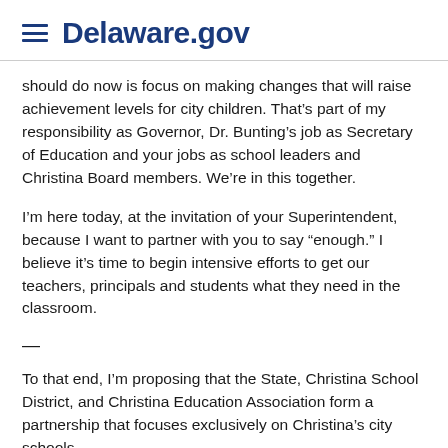Delaware.gov
should do now is focus on making changes that will raise achievement levels for city children. That’s part of my responsibility as Governor, Dr. Bunting’s job as Secretary of Education and your jobs as school leaders and Christina Board members. We’re in this together.
I’m here today, at the invitation of your Superintendent, because I want to partner with you to say “enough.” I believe it’s time to begin intensive efforts to get our teachers, principals and students what they need in the classroom.
—
To that end, I’m proposing that the State, Christina School District, and Christina Education Association form a partnership that focuses exclusively on Christina’s city schools.